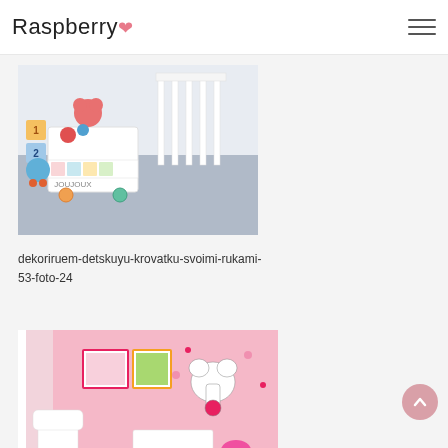Raspberry
[Figure (photo): A white nursery room with a toy box on wheels containing colorful toys (teddy bear, balls), white crib in background, gray wooden floor]
dekoriruem-detskuyu-krovatku-svoimi-rukami-53-foto-24
[Figure (photo): A pink Hello Kitty themed child's room with Hello Kitty wall stickers, framed pictures, pink lamp, white crib, colorful bedding]